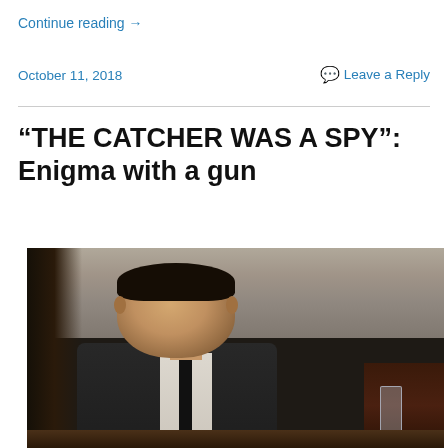Continue reading →
October 11, 2018
Leave a Reply
“THE CATCHER WAS A SPY”: Enigma with a gun
[Figure (photo): A man in a dark vest, white dress shirt, and dark tie seated at a table, looking forward intently. A glass of water is visible to the right. Dark wood paneling in background. Still from the film ‘The Catcher Was a Spy’.]